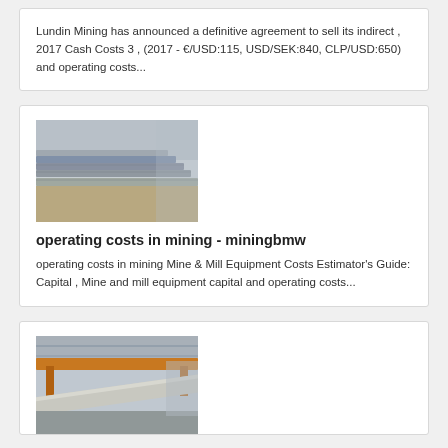Lundin Mining has announced a definitive agreement to sell its indirect , 2017 Cash Costs 3 , (2017 - €/USD:115, USD/SEK:840, CLP/USD:650) and operating costs...
[Figure (photo): Photo of metal bars/rails stacked in an industrial setting]
operating costs in mining - miningbmw
operating costs in mining Mine & Mill Equipment Costs Estimator's Guide: Capital , Mine and mill equipment capital and operating costs...
[Figure (photo): Photo of industrial mining equipment/conveyor in a warehouse]